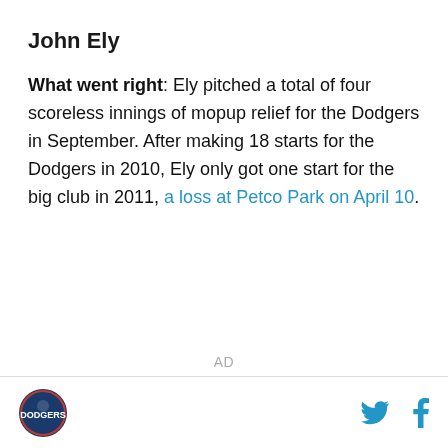John Ely
What went right: Ely pitched a total of four scoreless innings of mopup relief for the Dodgers in September. After making 18 starts for the Dodgers in 2010, Ely only got one start for the big club in 2011, a loss at Petco Park on April 10.
AD
[logo] [twitter] [facebook]